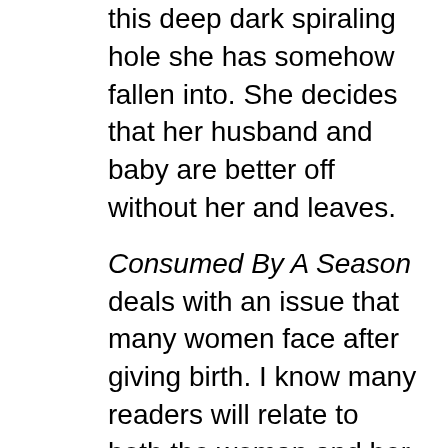this deep dark spiraling hole she has somehow fallen into. She decides that her husband and baby are better off without her and leaves.
Consumed By A Season deals with an issue that many women face after giving birth. I know many readers will relate to both the woman and her husband. This book is written with such wonderful descriptions and details that the words melt right off the pages and into the heart of the reader. During many parts of the book, I stopped reading and just imagined how these characters were feeling. One thing I noticed immediately was that the author did not give the main characters, the man and the woman, proper names or physical descriptions. In the author's note at the end of the book, she states that this was done on purpose so that “the emphasis would not be on the characters themselves but on the experiences they are walking through.” Although the story works fine without them, I felt that having names would have actually